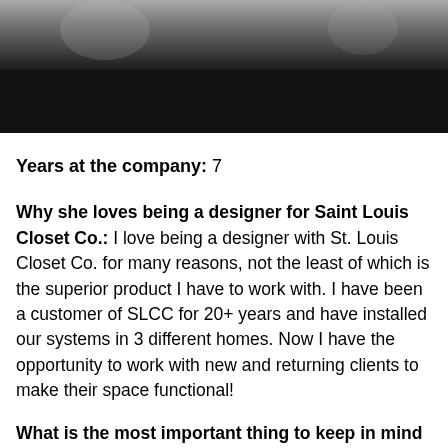[Figure (photo): Partial photo of a person wearing dark clothing, cropped at the top of the page, with a dark black bar below]
Years at the company: 7
Why she loves being a designer for Saint Louis Closet Co.: I love being a designer with St. Louis Closet Co. for many reasons, not the least of which is the superior product I have to work with. I have been a customer of SLCC for 20+ years and have installed our systems in 3 different homes. Now I have the opportunity to work with new and returning clients to make their space functional!
What is the most important thing to keep in mind when getting a custom closet: Every space is unique and comes with its own challenges however, all spaces can be